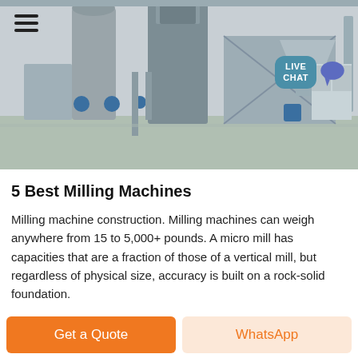[Figure (photo): Industrial milling/grinding plant facility interior showing large grey machinery, silos, pipes, and a green-tinted polished floor. A hamburger menu icon is visible top-left and a 'LIVE CHAT' bubble is visible top-right.]
5 Best Milling Machines
Milling machine construction. Milling machines can weigh anywhere from 15 to 5,000+ pounds. A micro mill has capacities that are a fraction of those of a vertical mill, but regardless of physical size, accuracy is built on a rock-solid foundation.
Get a Quote
WhatsApp